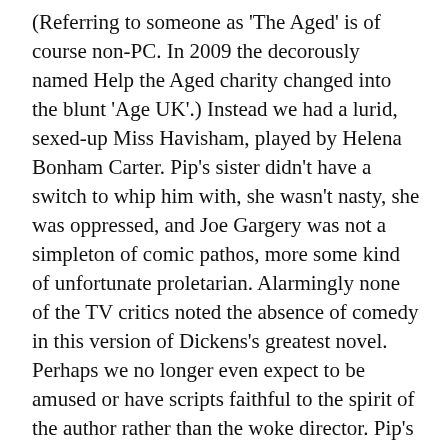(Referring to someone as 'The Aged' is of course non-PC. In 2009 the decorously named Help the Aged charity changed into the blunt 'Age UK'.) Instead we had a lurid, sexed-up Miss Havisham, played by Helena Bonham Carter. Pip's sister didn't have a switch to whip him with, she wasn't nasty, she was oppressed, and Joe Gargery was not a simpleton of comic pathos, more some kind of unfortunate proletarian. Alarmingly none of the TV critics noted the absence of comedy in this version of Dickens's greatest novel. Perhaps we no longer even expect to be amused or have scripts faithful to the spirit of the author rather than the woke director. Pip's class attitudes, central to the story, remained a problem which could not just be written out. As the producer Mike Newell put it, 'Why is Pip such a little sh*t?' He had no interest in finding out.